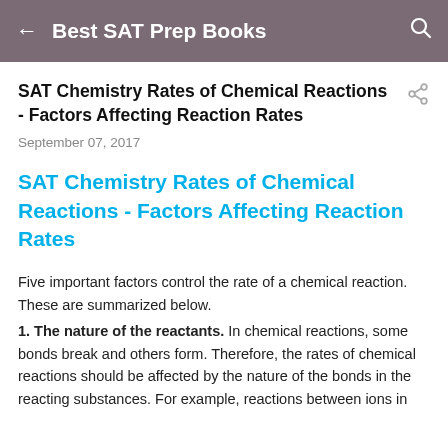← Best SAT Prep Books 🔍
SAT Chemistry Rates of Chemical Reactions - Factors Affecting Reaction Rates
September 07, 2017
SAT Chemistry Rates of Chemical Reactions - Factors Affecting Reaction Rates
Five important factors control the rate of a chemical reaction. These are summarized below.
1. The nature of the reactants. In chemical reactions, some bonds break and others form. Therefore, the rates of chemical reactions should be affected by the nature of the bonds in the reacting substances. For example, reactions between ions in